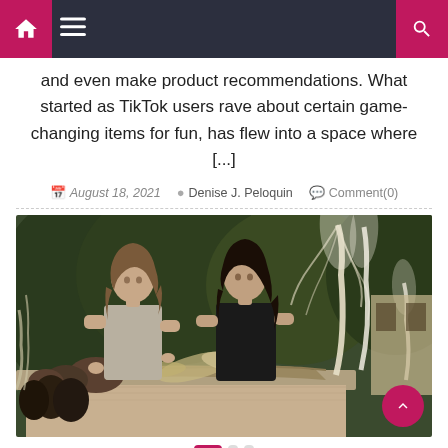Navigation bar with home, menu, and search icons
and even make product recommendations. What started as TikTok users rave about certain game-changing items for fun, has flew into a space where [...]
August 18, 2021  Denise J. Peloquin  Comment(0)
[Figure (photo): Two women working with dried flowers and pampas grass on an outdoor wooden table, surrounded by greenery]